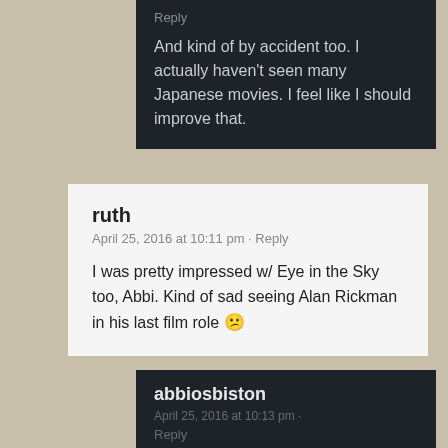Reply
And kind of by accident too. I actually haven't seen many Japanese movies. I feel like I should improve that.
ruth
April 25, 2016 at 10:11 pm · Reply
I was pretty impressed w/ Eye in the Sky too, Abbi. Kind of sad seeing Alan Rickman in his last film role 😕
abbiosbiston
April 25, 2016 at 10:13 pm ·
Reply